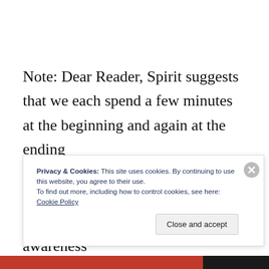Note: Dear Reader, Spirit suggests that we each spend a few minutes at the beginning and again at the ending of each day, reflecting on the seemingly nonsensical world we live in, and then to smile with awareness
Privacy & Cookies: This site uses cookies. By continuing to use this website, you agree to their use.
To find out more, including how to control cookies, see here: Cookie Policy
Close and accept